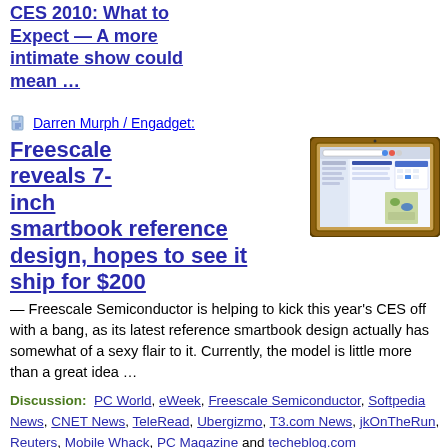CES 2010: What to Expect — A more intimate show could mean …
Darren Murph / Engadget:
Freescale reveals 7-inch smartbook reference design, hopes to see it ship for $200
— Freescale Semiconductor is helping to kick this year's CES off with a bang, as its latest reference smartbook design actually has somewhat of a sexy flair to it. Currently, the model is little more than a great idea …
[Figure (photo): Photo of a 7-inch tablet/smartbook device with a brown/orange frame showing a web browser on screen]
Discussion: PC World, eWeek, Freescale Semiconductor, Softpedia News, CNET News, TeleRead, Ubergizmo, T3.com News, jkOnTheRun, Reuters, Mobile Whack, PC Magazine and techeblog.com